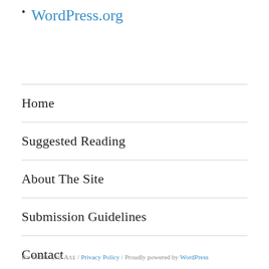WordPress.org
Home
Suggested Reading
About The Site
Submission Guidelines
Contact
Privacy Policy
By Spear and Axe / Privacy Policy / Proudly powered by WordPress